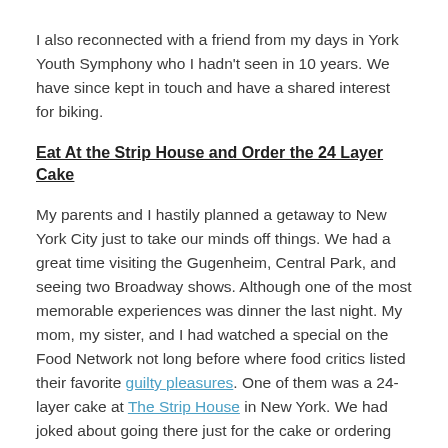I also reconnected with a friend from my days in York Youth Symphony who I hadn't seen in 10 years. We have since kept in touch and have a shared interest for biking.
Eat At the Strip House and Order the 24 Layer Cake
My parents and I hastily planned a getaway to New York City just to take our minds off things. We had a great time visiting the Gugenheim, Central Park, and seeing two Broadway shows. Although one of the most memorable experiences was dinner the last night. My mom, my sister, and I had watched a special on the Food Network not long before where food critics listed their favorite guilty pleasures. One of them was a 24-layer cake at The Strip House in New York. We had joked about going there just for the cake or ordering one ($100 plus tax/shipping), but we never seriously entertained the idea.